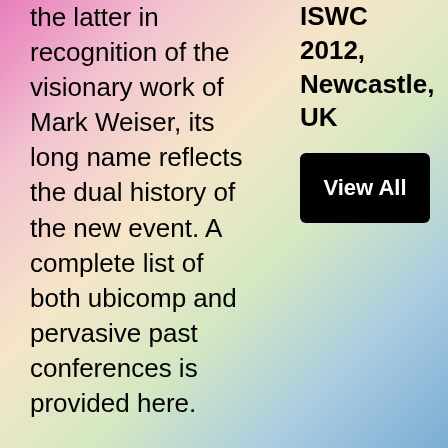the latter in recognition of the visionary work of Mark Weiser, its long name reflects the dual history of the new event. A complete list of both ubicomp and pervasive past conferences is provided here.
ISWC 2012, Newcastle, UK
View All